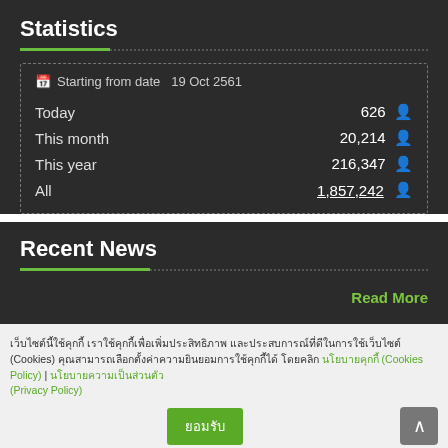Statistics
| Period | Count |
| --- | --- |
| Starting from date | 19 Oct 2561 |
| Today | 626 |
| This month | 20,214 |
| This year | 216,347 |
| All | 1,857,242 |
Recent News
Read More
เว็บไซต์นี้ใช้คุกกี้ เราใช้คุกกี้เพื่อเพิ่มประสิทธิภาพ และประสบการณ์ที่ดีในการใช้เว็บไซต์ (Cookies) คุณสามารถเลือกตั้งค่าความยินยอมการใช้คุกกี้ได้ โดยคลิก นโยบายคุกกี้ (Cookies Policy) | นโยบายความเป็นส่วนตัว (Privacy Policy)
ยอมรับ